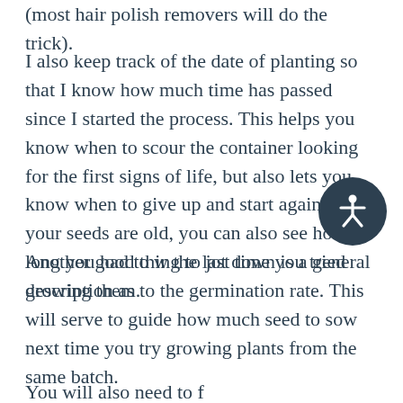(most hair polish removers will do the trick).
I also keep track of the date of planting so that I know how much time has passed since I started the process.  This helps you know when to scour the container looking for the first signs of life, but also lets you know when to give up and start again.  If your seeds are old, you can also see how long you had to w... the last time you tried growing them.
Another good thing to jot down is a general description as to the germination rate.  This will serve to guide how much seed to sow next time you try growing plants from the same batch.
You will also need to f...